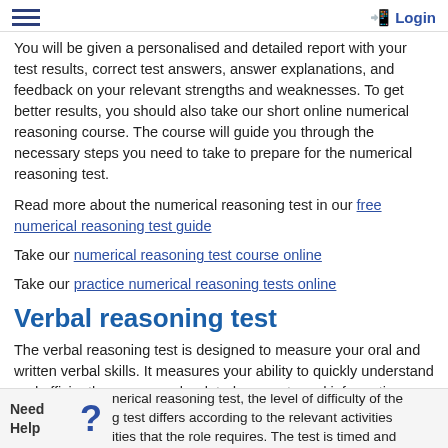≡  Login
You will be given a personalised and detailed report with your test results, correct test answers, answer explanations, and feedback on your relevant strengths and weaknesses. To get better results, you should also take our short online numerical reasoning course. The course will guide you through the necessary steps you need to take to prepare for the numerical reasoning test.
Read more about the numerical reasoning test in our free numerical reasoning test guide
Take our numerical reasoning test course online
Take our practice numerical reasoning tests online
Verbal reasoning test
The verbal reasoning test is designed to measure your oral and written verbal skills. It measures your ability to quickly understand and efficiently convey work-related concepts and information, quickly sieve through extensive amounts of work-related written data to identify critical issues, and logically draw conclusions.
nerical reasoning test, the level of difficulty of the g test differs according to the relevant activities ities that the role requires. The test is timed and